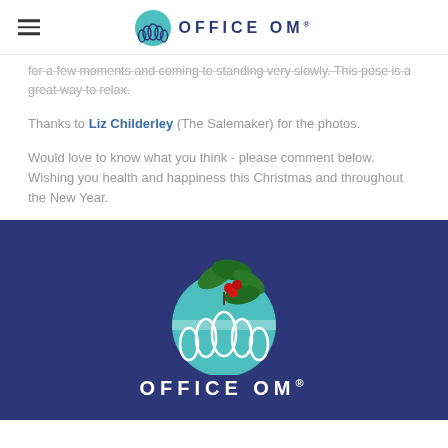OFFICE OM®
for a few moments and coming to standing very slowly. This pose is a great way to relax.
Thanks to Liz Childerley (The Salemaker) for the photos.
Would love to know what you think - please comment below.  Wishing you health and happiness this Christmas and throughout the New Year.
[Figure (logo): Office Om Christmas logo — the Office Om lotus/leaf emblem in a teal-and-white circle with holly and berries on top, on a dark navy/indigo background, with 'OFFICE OM®' text in white below.]